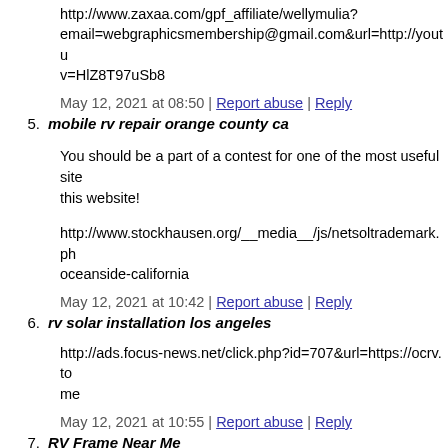http://www.zaxaa.com/gpf_affiliate/wellymulia?email=webgraphicsmembership@gmail.com&url=http://youtu v=HlZ8T97uSb8
May 12, 2021 at 08:50 | Report abuse | Reply
5. mobile rv repair orange county ca
You should be a part of a contest for one of the most useful sites on the internet. I am going to recommend this website!
http://www.stockhausen.org/__media__/js/netsoltrademark.php oceanside-california
May 12, 2021 at 10:42 | Report abuse | Reply
6. rv solar installation los angeles
http://ads.focus-news.net/click.php?id=707&url=https://ocrv.to me
May 12, 2021 at 10:55 | Report abuse | Reply
7. RV Frame Near Me
Saved as a favorite, I really like your web site!
http://cureyourbruxism.com/__media__/js/netsoltrademark.php yorba-linda-2